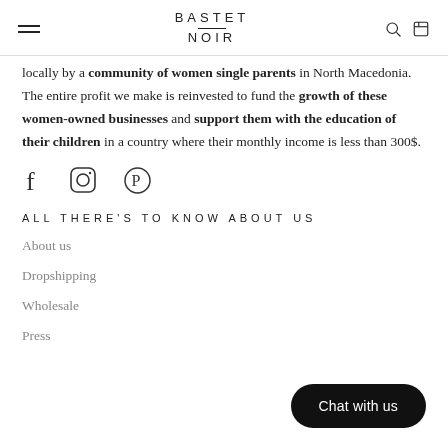BASTET NOIR
locally by a community of women single parents in North Macedonia. The entire profit we make is reinvested to fund the growth of these women-owned businesses and support them with the education of their children in a country where their monthly income is less than 300$.
[Figure (illustration): Social media icons: Facebook (f), Instagram (circle camera), Pinterest (P in circle)]
ALL THERE'S TO KNOW ABOUT US
About us
Dropshipping
Wholesale
Press
Chat with us